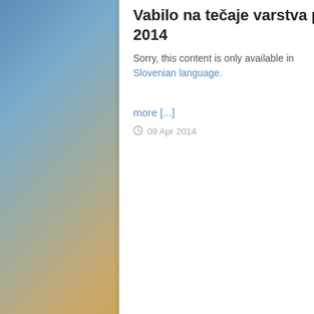Vabilo na tečaje varstva pred ionizirajočimi sevanji, oktober 2014
Sorry, this content is only available in Slovenian language.
9 April 2014
more [...]
09 Apr 2014